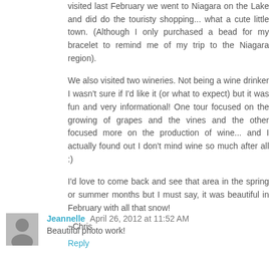visited last February we went to Niagara on the Lake and did do the touristy shopping... what a cute little town. (Although I only purchased a bead for my bracelet to remind me of my trip to the Niagara region).
We also visited two wineries. Not being a wine drinker I wasn't sure if I'd like it (or what to expect) but it was fun and very informational! One tour focused on the growing of grapes and the vines and the other focused more on the production of wine... and I actually found out I don't mind wine so much after all :)
I'd love to come back and see that area in the spring or summer months but I must say, it was beautiful in February with all that snow!
~Chris
Reply
[Figure (photo): Small grayscale avatar photo of a person]
Jeannelle April 26, 2012 at 11:52 AM
Beautiful photo work!